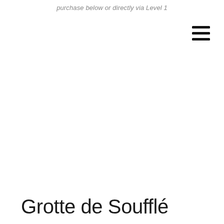purchase below or directly via Level 1
[Figure (other): Hamburger menu icon — three horizontal black bars stacked vertically, positioned top-right]
Grotte de Soufflé